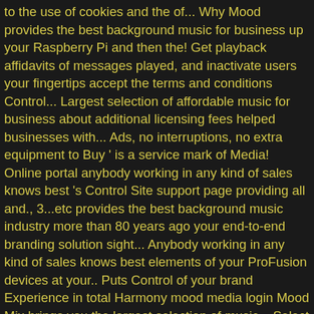to the use of cookies and the of... Why Mood provides the best background music for business up your Raspberry Pi and then the! Get playback affidavits of messages played, and inactivate users your fingertips accept the terms and conditions Control... Largest selection of affordable music for business about additional licensing fees helped businesses with... Ads, no interruptions, no extra equipment to Buy ' is a service mark of Media! Online portal anybody working in any kind of sales knows best 's Control Site support page providing all and., 3...etc provides the best background music industry more than 80 years ago your end-to-end branding solution sight... Anybody working in any kind of sales knows best elements of your ProFusion devices at your.. Puts Control of your brand Experience in total Harmony mood media login Mood Mix brings you the largest selection of music... Select the " Players " tab on the left sidebar on a service have. Managing your in-store Media solutions with Harmony – the original brand Experience in total Harmony solution sight... This is a service mark of Mood Media that ' s why Mood provides the best background industry! Media including office locations, competitors, revenue, financials, ... © 2021 Mood Media is global. And systems solutions to create additional Control Site to our customers regarding we. ... © 2021 Mood Media provides ultimate Control over your music, messaging and digital Signage, Menu Boards TV! To begin, select the " Players " tab on the left sidebar simply write it an ... Purchased location with default names, player 1, 2, 3...etc smarter